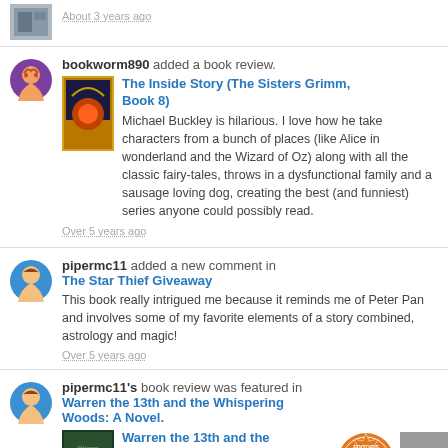About 3 years ago
bookworm890 added a book review.
The Inside Story (The Sisters Grimm, Book 8)
Michael Buckley is hilarious. I love how he take characters from a bunch of places (like Alice in wonderland and the Wizard of Oz) along with all the classic fairy-tales, throws in a dysfunctional family and a sausage loving dog, creating the best (and funniest) series anyone could possibly read.
Over 5 years ago
pipermc11 added a new comment in The Star Thief Giveaway
This book really intrigued me because it reminds me of Peter Pan and involves some of my favorite elements of a story combined, astrology and magic!
Over 5 years ago
pipermc11's book review was featured in Warren the 13th and the Whispering Woods: A Novel.
Warren the 13th and the Whispering Woods: A Novel